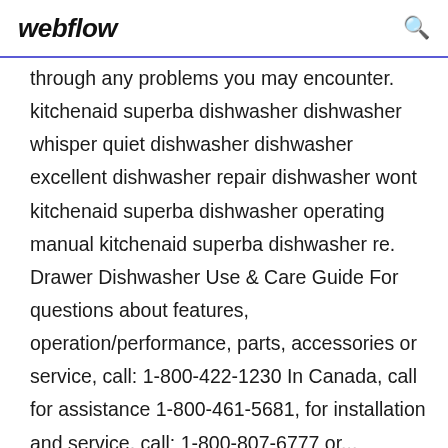webflow [search icon]
through any problems you may encounter. kitchenaid superba dishwasher dishwasher whisper quiet dishwasher dishwasher excellent dishwasher repair dishwasher wont kitchenaid superba dishwasher operating manual kitchenaid superba dishwasher re. Drawer Dishwasher Use & Care Guide For questions about features, operation/performance, parts, accessories or service, call: 1-800-422-1230 In Canada, call for assistance 1-800-461-5681, for installation and service, call: 1-800-807-6777 or... kitchenaid kdte254e premium feel when pulling out the rack particularly with heavy loads kitchenaid dishwasher kdte254ess1 user manual View and Download KitchenAid